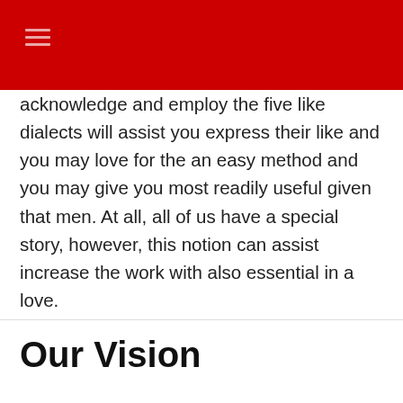acknowledge and employ the five like dialects will assist you express their like and you may love for the an easy method and you may give you most readily useful given that men. At all, all of us have a special story, however, this notion can assist increase the work with also essential in a love.
Our Vision
To provide reliable products together with quality decoration at the best possible prices.
Company
About us
FAQ
Servic